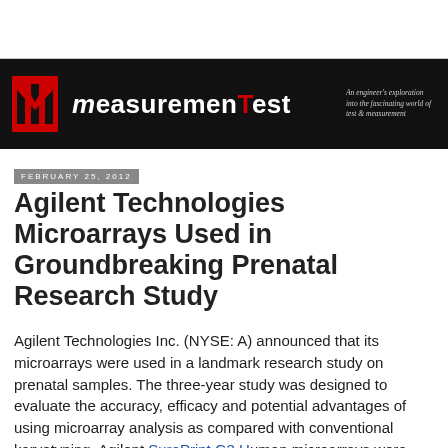measuremenTest — An engineer's exploration into the fascinating world of test & measurement
February 25, 2012
Agilent Technologies Microarrays Used in Groundbreaking Prenatal Research Study
Agilent Technologies Inc. (NYSE: A) announced that its microarrays were used in a landmark research study on prenatal samples. The three-year study was designed to evaluate the accuracy, efficacy and potential advantages of using microarray analysis as compared with conventional karyotyping. Agilent SurePrint G3 Human microarrays were used...